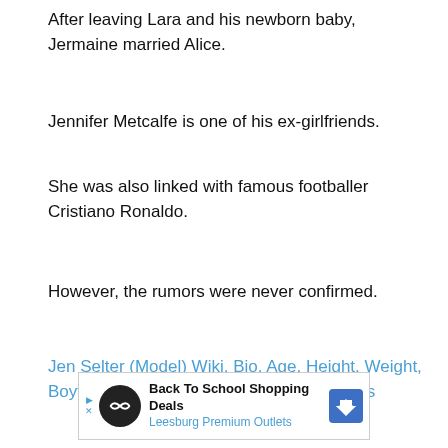After leaving Lara and his newborn baby, Jermaine married Alice.
Jennifer Metcalfe is one of his ex-girlfriends.
She was also linked with famous footballer Cristiano Ronaldo.
However, the rumors were never confirmed.
Jen Selter (Model) Wiki, Bio, Age, Height, Weight, Boyfriend, Net Worth, Family, Career, Facts
[Figure (infographic): Advertisement banner for Back To School Shopping Deals at Leesburg Premium Outlets with a circular black logo, play and close buttons, and a blue arrow navigation icon.]